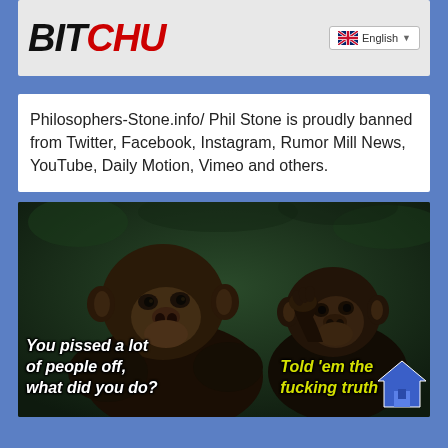[Figure (screenshot): Website logo bar showing 'BITCHU' text in black and red italic bold font, with an English language selector dropdown on the right]
Philosophers-Stone.info/ Phil Stone is proudly banned from Twitter, Facebook, Instagram, Rumor Mill News, YouTube, Daily Motion, Vimeo and others.
[Figure (photo): Meme image showing two chimpanzees. Text on left reads: 'You pissed a lot of people off, what did you do?' Text on right in yellow reads: 'Told 'em the fucking truth' with a blue house icon in bottom right corner.]